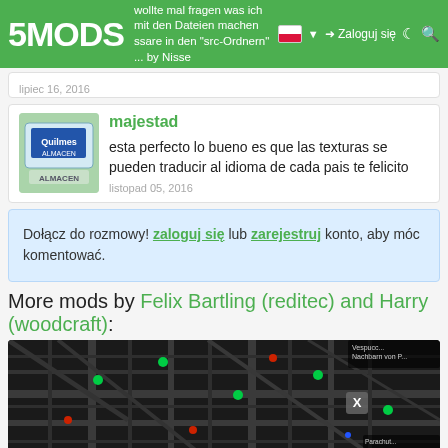5MODS | wollte mal fragen was ich mit den Dateien machen ... ssare in den "src-Ordnern" ... by Nisse | Zaloguj się
lipiec 16, 2016
majestad
esta perfecto lo bueno es que las texturas se pueden traducir al idioma de cada pais te felicito
listopad 05, 2016
Dołącz do rozmowy! zaloguj się lub zarejestruj konto, aby móc komentować.
More mods by Felix Bartling (reditec) and Harry (woodcraft):
[Figure (map): Dark city map with street layout and colored markers, showing Los Santos area with 'Los Santos Cust...' label in corner]